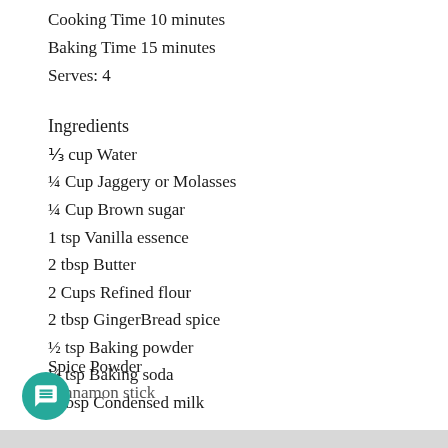Cooking Time 10 minutes
Baking Time 15 minutes
Serves: 4
Ingredients
⅓ cup Water
¼ Cup Jaggery or Molasses
¼ Cup Brown sugar
1 tsp Vanilla essence
2 tbsp Butter
2 Cups Refined flour
2 tbsp GingerBread spice
½ tsp Baking powder
¼ tsp Baking soda
1 tbsp Condensed milk
Spice Powder
Cinnamon stick